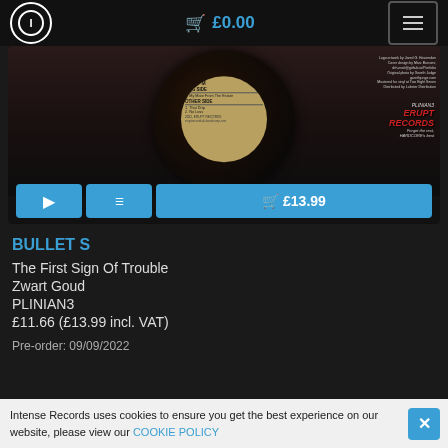£0.00
[Figure (photo): Vinyl record product image showing label with track listing: THIS SIDE 1. My Mate From The Estate, OTHER SIDE 1. That Drip 2. No Loss. 45 RPM. 2022, ERUPT RECORDS. PLINIAN3. With play, tracklist, and add-to-cart (£13.99) buttons below.]
BULLET S
The First Sign Of Trouble
Zwart Goud
PLINIAN3
£11.66 (£13.99 incl. VAT)
Pre-order: 09/09/2022
Intense Records uses cookies to ensure you get the best experience on our website, please view our COOKIE POLICY